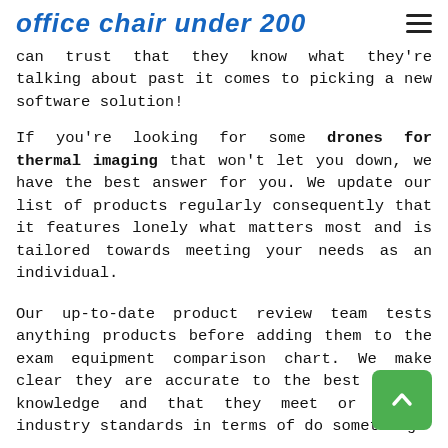office chair under 200
can trust that they know what they're talking about past it comes to picking a new software solution!
If you're looking for some drones for thermal imaging that won't let you down, we have the best answer for you. We update our list of products regularly consequently that it features lonely what matters most and is tailored towards meeting your needs as an individual.
Our up-to-date product review team tests anything products before adding them to the exam equipment comparison chart. We make clear they are accurate to the best of our knowledge and that they meet or exceed industry standards in terms of do something